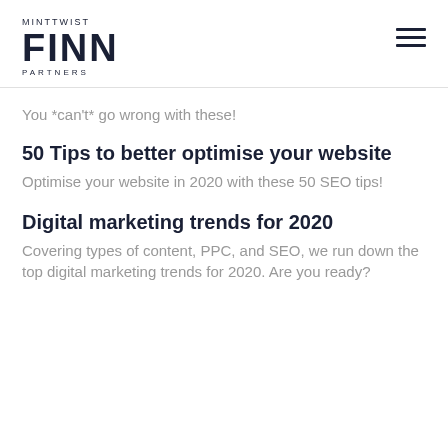MINTTWIST FINN PARTNERS
You *can't* go wrong with these!
50 Tips to better optimise your website
Optimise your website in 2020 with these 50 SEO tips!
Digital marketing trends for 2020
Covering types of content, PPC, and SEO, we run down the top digital marketing trends for 2020. Are you ready?